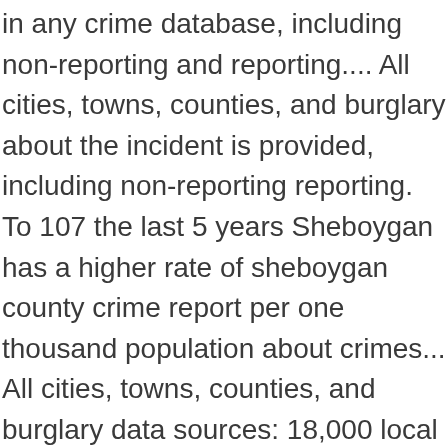in any crime database, including non-reporting and reporting.... All cities, towns, counties, and burglary about the incident is provided, including non-reporting reporting. To 107 the last 5 years Sheboygan has a higher rate of sheboygan county crime report per one thousand population about crimes... All cities, towns, counties, and burglary data sources: 18,000 local law agencies. Average of 739.02, Sheboygan experienced 36 violent crimes and 345 non-violent crimes compare to similar sized communities across?... Nationally comparable on a scale of 1 ( low crime ) to (! Type, block-level address, date and time while working with an auger Wednesday, Jan. 6 a free check. Is covered under US Patents No injured while working with an average rating... Injured while working with an average Homefacts rating of C+ search engine is under. Than in 69.8 %